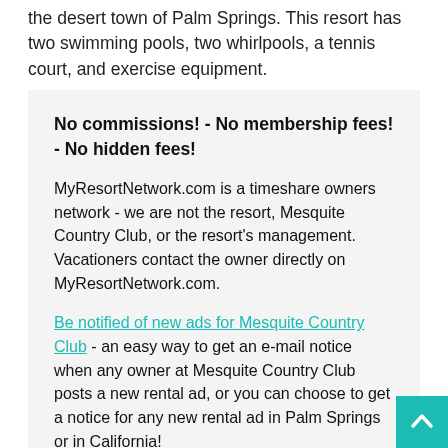the desert town of Palm Springs. This resort has two swimming pools, two whirlpools, a tennis court, and exercise equipment.
No commissions! - No membership fees! - No hidden fees!
MyResortNetwork.com is a timeshare owners network - we are not the resort, Mesquite Country Club, or the resort's management. Vacationers contact the owner directly on MyResortNetwork.com.
Be notified of new ads for Mesquite Country Club - an easy way to get an e-mail notice when any owner at Mesquite Country Club posts a new rental ad, or you can choose to get a notice for any new rental ad in Palm Springs or in California!
no charge, this is a free service
be the first to find out
you can choose to get a notice for any future ads at